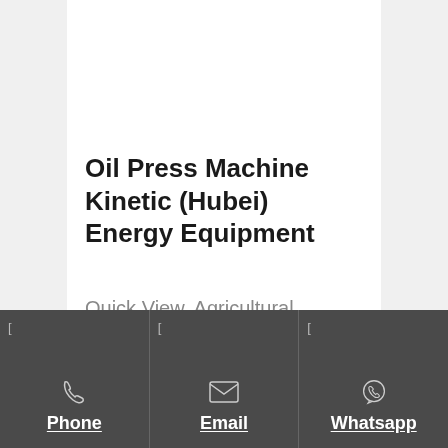Oil Press Machine Kinetic (Hubei) Energy Equipment
Quick View. Agricultural Machine Mustard Oil Press Extract Machine Germany Palm Oil Oil Processing Machine and Rice
Phone  Email  Whatsapp